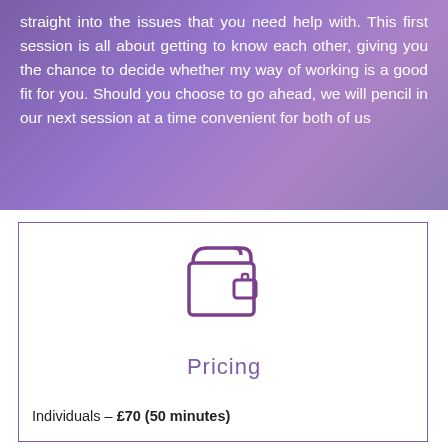straight into the issues that you need help with. This first session is all about getting to know each other, giving you the chance to decide whether my way of working is a good fit for you. Should you choose to go ahead, we will pencil in our next session at a time convenient for both of us
[Figure (illustration): A wallet icon drawn in purple outline style]
Pricing
Individuals – £70 (50 minutes)